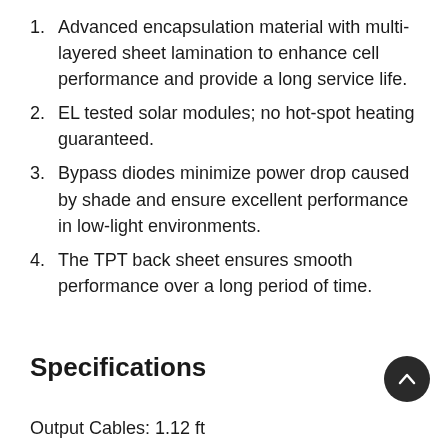1. Advanced encapsulation material with multi-layered sheet lamination to enhance cell performance and provide a long service life.
2. EL tested solar modules; no hot-spot heating guaranteed.
3. Bypass diodes minimize power drop caused by shade and ensure excellent performance in low-light environments.
4. The TPT back sheet ensures smooth performance over a long period of time.
Specifications
Output Cables: 1.12 ft